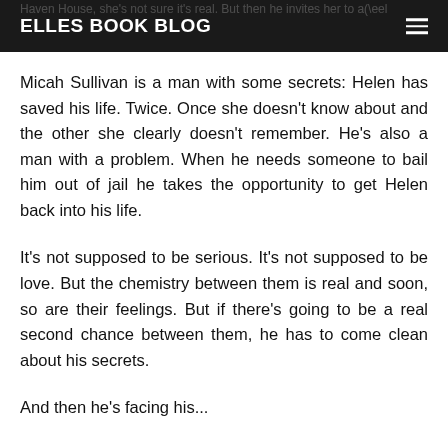ELLES BOOK BLOG
Micah Sullivan is a man with some secrets: Helen has saved his life. Twice. Once she doesn't know about and the other she clearly doesn't remember. He's also a man with a problem. When he needs someone to bail him out of jail he takes the opportunity to get Helen back into his life.
It's not supposed to be serious. It's not supposed to be love. But the chemistry between them is real and soon, so are their feelings. But if there's going to be a real second chance between them, he has to come clean about his secrets.
And then he's facing his...